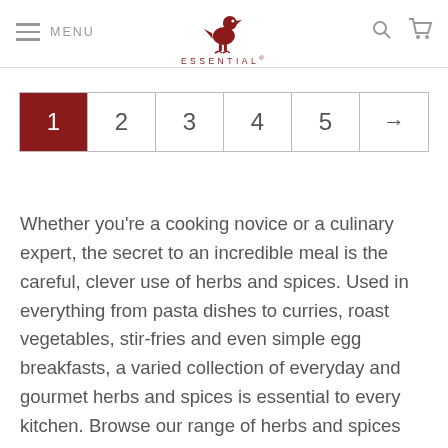MENU | ESSENTIAL (logo) | search | cart
[Figure (other): Pagination navigation bar with cells numbered 1 (active, dark red background), 2, 3, 4, 5, and a right arrow]
Whether you’re a cooking novice or a culinary expert, the secret to an incredible meal is the careful, clever use of herbs and spices. Used in everything from pasta dishes to curries, roast vegetables, stir-fries and even simple egg breakfasts, a varied collection of everyday and gourmet herbs and spices is essential to every kitchen. Browse our range of herbs and spices online today and get everything you need to make any meal